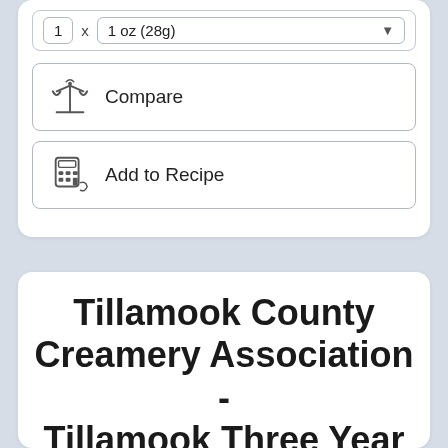1 x 1 oz (28g)
Compare
Add to Recipe
Tillamook County Creamery Association - Tillamook Three Year Vintage Extra Sharp White Cheddar Cheese